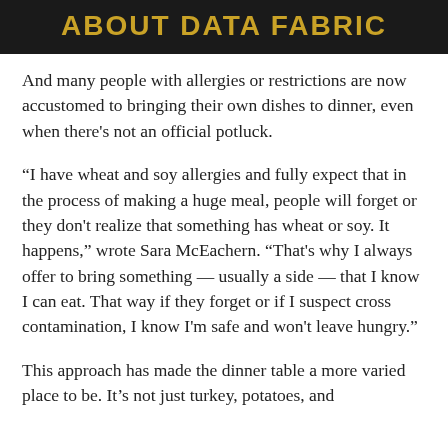ABOUT DATA FABRIC
And many people with allergies or restrictions are now accustomed to bringing their own dishes to dinner, even when there's not an official potluck.
“I have wheat and soy allergies and fully expect that in the process of making a huge meal, people will forget or they don't realize that something has wheat or soy. It happens,” wrote Sara McEachern. “That's why I always offer to bring something — usually a side — that I know I can eat. That way if they forget or if I suspect cross contamination, I know I'm safe and won't leave hungry.”
This approach has made the dinner table a more varied place to be. It’s not just turkey, potatoes, and